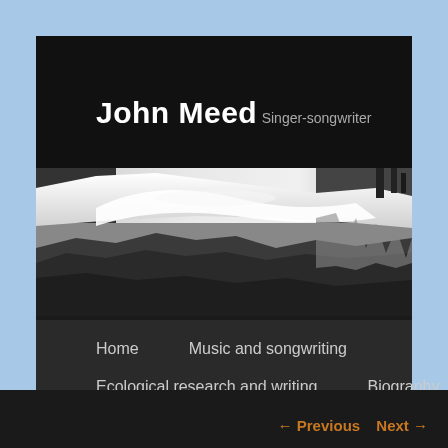John Meed
Singer-songwriter
[Figure (photo): Black and white landscape photograph showing a rocky terrain with a dramatic sky and what appears to be a glacier or snow formation.]
Home
Music and songwriting
Ecological research and writing
Biography
Blog
Church concerts
Contact
← Previous   Next →